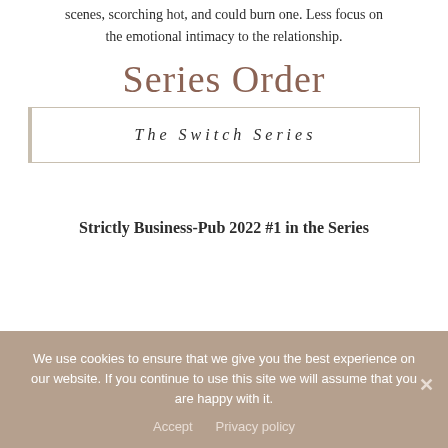scenes, scorching hot, and could burn one. Less focus on the emotional intimacy to the relationship.
Series Order
| The Switch Series |
Strictly Business-Pub 2022 #1 in the Series
We use cookies to ensure that we give you the best experience on our website. If you continue to use this site we will assume that you are happy with it.
Accept   Privacy policy